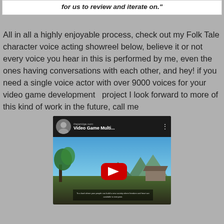for us to review and iterate on."
All in all a highly enjoyable process, check out my Folk Tale character voice acting showreel below, believe it or not every voice you hear in this is performed by me, even the ones having conversations with each other, and hey! if you need a single voice actor with over 9000 voices for your video game development  project I look forward to more of this kind of work in the future, call me
[Figure (screenshot): YouTube video embed showing 'Video Game Multi...' with a game scene thumbnail featuring tropical trees, blue sky, mountains, and a red YouTube play button in the center. Channel avatar visible top left.]